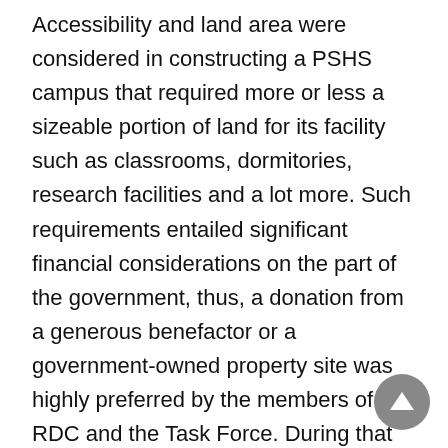Accessibility and land area were considered in constructing a PSHS campus that required more or less a sizeable portion of land for its facility such as classrooms, dormitories, research facilities and a lot more. Such requirements entailed significant financial considerations on the part of the government, thus, a donation from a generous benefactor or a government-owned property site was highly preferred by the members of the RDC and the Task Force. During that meeting, Ms. Filipina Besana, wife of Mr. Florencio Besana, a member of the RDC VI heard about the predicament of the group and spontaneously offered a portion of land owned by Dona Lawaan H. Lopez located in Bgy. Bito-on, Jaro, Iloilo City. As the overseer and administrator of the estates of Dona Lawaan, she told the body that she was willing to negotiate with her boss and the body agreed to her offer. Immediately, she composed a letter for Dona Lawaan, travelled to Fabrica, Negros Occidental the next day to meet with Dona...